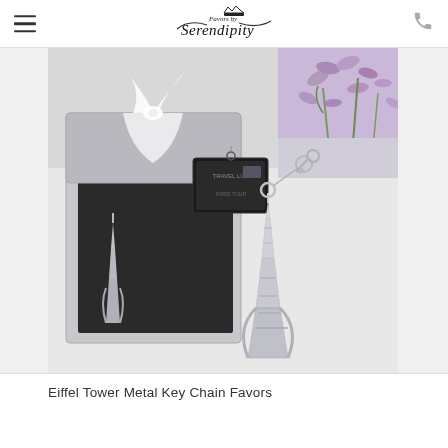Favors by Serendipity
[Figure (photo): Product photo showing Eiffel Tower metal key chain favors. A silver gift box with white organza ribbon on the left, containing a small Eiffel Tower keychain. A larger silver Eiffel Tower keychain figurine is displayed on the right. Purple flowers and green stems are visible in the top right corner. White marble surface background.]
Eiffel Tower Metal Key Chain Favors